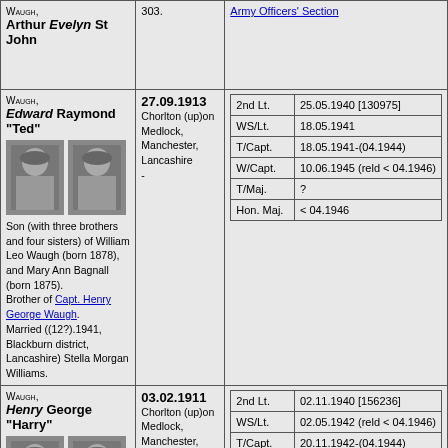| Name | DOB/Place | Ranks/Dates |
| --- | --- | --- |
| Waugh, Arthur Evelyn St John | 303. | Army Officers Section (link) |
| Waugh, Edward Raymond "Ted"
[photos]
Son (with three brothers and four sisters) of William Leo Waugh (born 1878), and Mary Ann Bagnall (born 1875).
Brother of Capt. Henry George Waugh.
Married ((12?).1941, Blackburn district, Lancashire) Stella Morgan Williams. | 27.09.1913
Chorlton (up)on Medlock, Manchester, Lancashire
- | 2nd Lt. 25.05.1940 [130975]
WS/Lt. 18.05.1941
T/Capt. 18.05.1941-(04.1944)
W/Capt. 10.06.1945 (reld < 04.1946)
T/Maj. ?
Hon. Maj. < 04.1946 |
| Waugh, Henry George "Harry"
[photos]
Son (with three brothers and four sisters) of William Leo Waugh (born 1878), | 03.02.1911
Chorlton (up)on Medlock, Manchester, Lancashire
-
(12?).1961
South Africa | 2nd Lt. 02.11.1940 [156236]
WS/Lt. 02.05.1942 (reld < 04.1946)
T/Capt. 20.11.1942-(04.1944)
Hon. Capt. < 04.1946 |